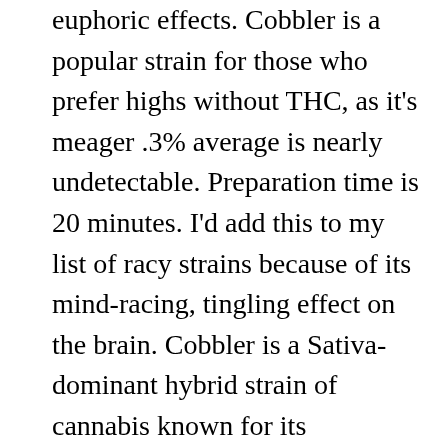euphoric effects. Cobbler is a popular strain for those who prefer highs without THC, as it's meager .3% average is nearly undetectable. Preparation time is 20 minutes. I'd add this to my list of racy strains because of its mind-racing, tingling effect on the brain. Cobbler is a Sativa-dominant hybrid strain of cannabis known for its incredibly high CBD concentration. The effects are quite heady, as users describe a tingly sensation building behind the eyes before erupting and spreading throughout the rest of the head and body. Buds explode with vigor in an Christmas tree structure, giving ways to large neon spear shaped buds. at only t5 each capsule was very small in mg, was in a... 17k